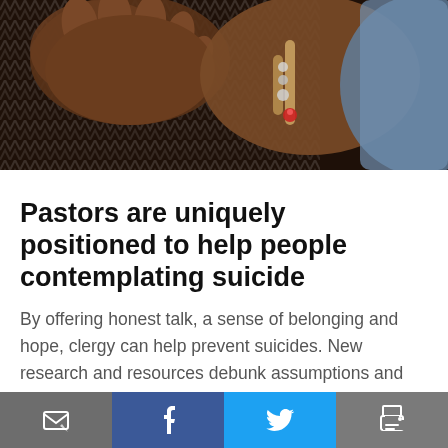[Figure (photo): Close-up photo of two dark-skinned hands, one with a charm bracelet, placed on a person wearing a black and white herringbone patterned fabric top.]
Pastors are uniquely positioned to help people contemplating suicide
By offering honest talk, a sense of belonging and hope, clergy can help prevent suicides. New research and resources debunk assumptions and point to actions that address this growing problem.
By G. Jeffrey MacDonald
Email | Facebook | Twitter | Print